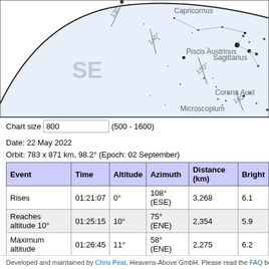[Figure (illustration): Star chart showing SE horizon with constellation labels: Capricornus, Piscis Austrinus, Microscopium, Sagittarius, Corona Austrinus. Blue shaded horizon region with arc and azimuth degree markings at 130°, 140°, 150°, 160°.]
Chart size 800 (500 - 1600)
Date: 22 May 2022
Orbit: 783 x 871 km, 98.2° (Epoch: 02 September)
| Event | Time | Altitude | Azimuth | Distance (km) | Bright |
| --- | --- | --- | --- | --- | --- |
| Rises | 01:21:07 | 0° | 108° (ESE) | 3,268 | 6.1 |
| Reaches altitude 10° | 01:25:15 | 10° | 75° (ENE) | 2,354 | 5.9 |
| Maximum altitude | 01:26:45 | 11° | 58° (ENE) | 2,275 | 6.2 |
| Drops below altitude 10° | 01:28:14 | 10° | 41° (NE) | 2,368 | 6.4 |
| Sets | 01:32:25 | 0° | 8° (N) | 3,321 | 6.7 |
Developed and maintained by Chris Peat, Heavens-Above GmbH. Please read the FAQ before se